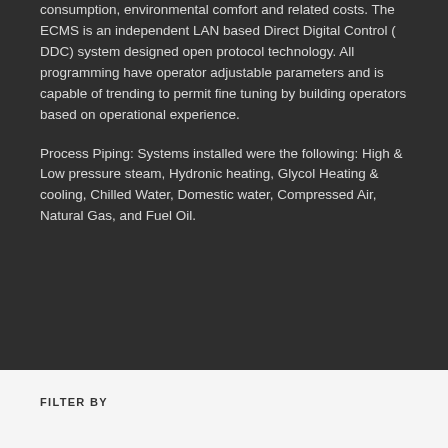consumption, environmental comfort and related costs. The ECMS is an independent LAN based Direct Digital Control ( DDC) system designed open protocol technology. All programming have operator adjustable parameters and is capable of trending to permit fine tuning by building operators based on operational experience.
Process Piping: Systems installed were the following: High & Low pressure steam, Hydronic heating, Glycol Heating & cooling, Chilled Water, Domestic water, Compressed Air, Natural Gas, and Fuel Oil.
FILTER BY